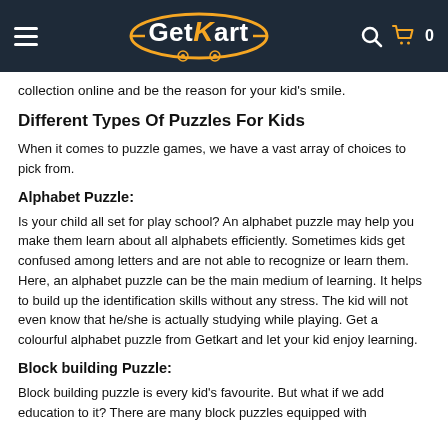GetKart — navigation header with logo, search, and cart
collection online and be the reason for your kid's smile.
Different Types Of Puzzles For Kids
When it comes to puzzle games, we have a vast array of choices to pick from.
Alphabet Puzzle:
Is your child all set for play school? An alphabet puzzle may help you make them learn about all alphabets efficiently. Sometimes kids get confused among letters and are not able to recognize or learn them. Here, an alphabet puzzle can be the main medium of learning. It helps to build up the identification skills without any stress. The kid will not even know that he/she is actually studying while playing. Get a colourful alphabet puzzle from Getkart and let your kid enjoy learning.
Block building Puzzle:
Block building puzzle is every kid's favourite. But what if we add education to it? There are many block puzzles equipped with